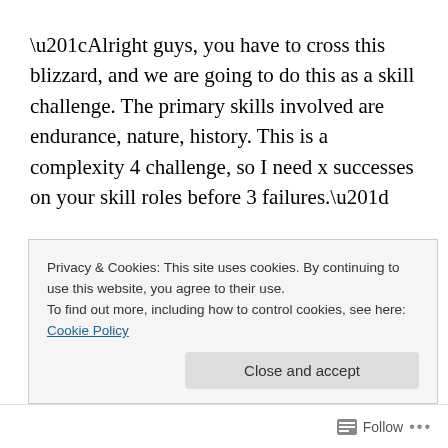“Alright guys, you have to cross this blizzard, and we are going to do this as a skill challenge.  The primary skills involved are endurance, nature, history.  This is a complexity 4 challenge, so I need x successes on your skill roles before 3 failures.”
And then I went around the table, and the players told me what skill check they were making as part of the
Privacy & Cookies: This site uses cookies. By continuing to use this website, you agree to their use.
To find out more, including how to control cookies, see here: Cookie Policy
Close and accept
Follow •••